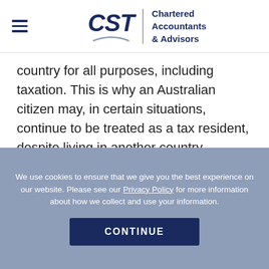CST | Chartered Accountants & Advisors
country for all purposes, including taxation. This is why an Australian citizen may, in certain situations, continue to be treated as a tax resident, despite living in another country.
However, what about for those citizens from another country, living in Australia?
We use cookies to ensure that we give you the best experience on our website. Please see our Privacy Policy for more information about how we collect and use your information.